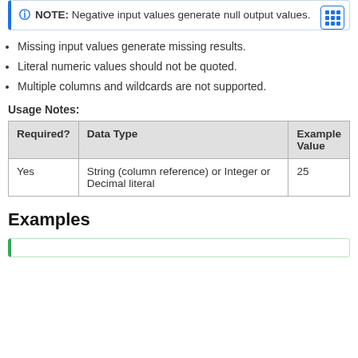NOTE: Negative input values generate null output values.
Missing input values generate missing results.
Literal numeric values should not be quoted.
Multiple columns and wildcards are not supported.
Usage Notes:
| Required? | Data Type | Example Value |
| --- | --- | --- |
| Yes | String (column reference) or Integer or Decimal literal | 25 |
Examples